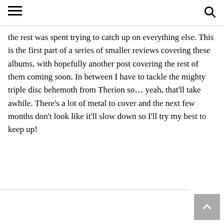[hamburger menu icon] [search icon]
the rest was spent trying to catch up on everything else. This is the first part of a series of smaller reviews covering these albums, with hopefully another post covering the rest of them coming soon. In between I have to tackle the mighty triple disc behemoth from Therion so… yeah, that'll take awhile. There's a lot of metal to cover and the next few months don't look like it'll slow down so I'll try my best to keep up!